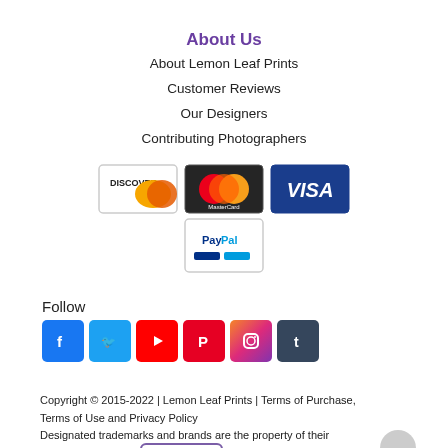About Us
About Lemon Leaf Prints
Customer Reviews
Our Designers
Contributing Photographers
[Figure (logo): Payment method logos: Discover, MasterCard, Visa, PayPal]
Follow
[Figure (infographic): Social media icons: Facebook, Twitter, YouTube, Pinterest, Instagram, Tumblr]
Copyright © 2015-2022 | Lemon Leaf Prints | Terms of Purchase, Terms of Use and Privacy Policy
Designated trademarks and brands are the property of their respective owners.
[Figure (logo): Bambora secure online badge]